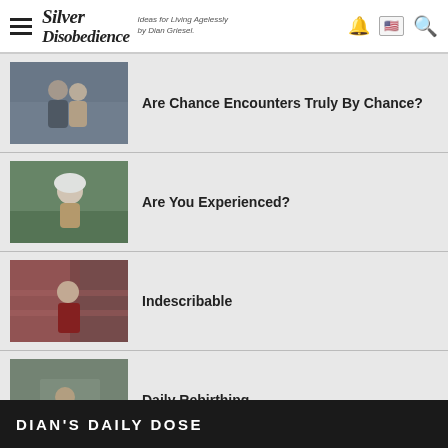Silver Disobedience — Ideas for Living Agelessly by Dian Griesel.
Are Chance Encounters Truly By Chance?
[Figure (photo): Couple smiling outdoors on a street]
Are You Experienced?
[Figure (photo): Older woman with long white hair smiling outdoors]
Indescribable
[Figure (photo): Woman in red jacket sitting outdoors against brick wall]
Daily Rebirthing
[Figure (photo): Person outdoors near water with trees in background]
DIAN'S DAILY DOSE